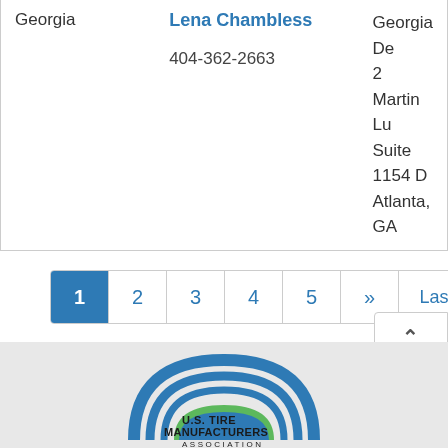| State | Contact | Address |
| --- | --- | --- |
| Georgia | Lena Chambless
404-362-2663 | Georgia De
2 Martin Lu
Suite 1154 D
Atlanta, GA |
Pagination: 1 (active), 2, 3, 4, 5, >>, Last »
[Figure (logo): U.S. Tire Manufacturers Association logo with blue arc/tire tread design and green accent]